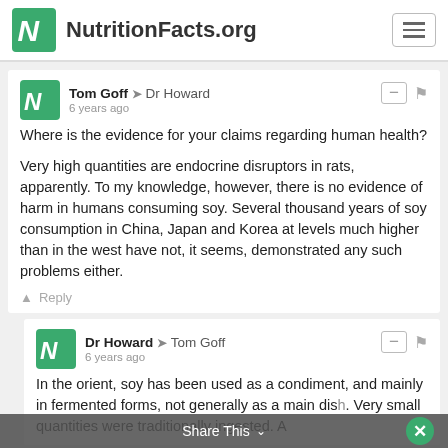NutritionFacts.org
Tom Goff → Dr Howard
6 years ago
Where is the evidence for your claims regarding human health?

Very high quantities are endocrine disruptors in rats, apparently. To my knowledge, however, there is no evidence of harm in humans consuming soy. Several thousand years of soy consumption in China, Japan and Korea at levels much higher than in the west have not, it seems, demonstrated any such problems either.
Reply
Dr Howard → Tom Goff
6 years ago
In the orient, soy has been used as a condiment, and mainly in fermented forms, not generally as a main dish. Very small quantities were traditionally ingested. A